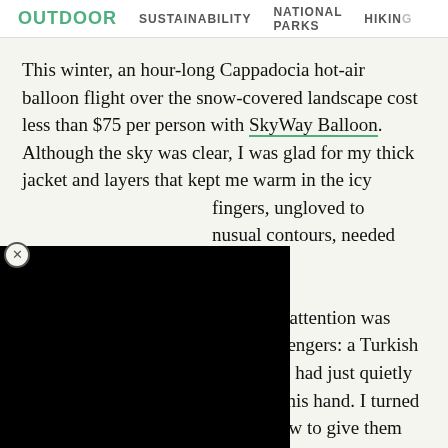OUTDOOR   SUSTAINABILITY   NATIONAL PARKS   HIKING
This winter, an hour-long Cappadocia hot-air balloon flight over the snow-covered landscape cost less than $75 per person with SkyWay Balloon. Although the sky was clear, I was glad for my thick jacket and layers that kept me warm in the icy [obscured]...fingers, ungloved to [obscured]...usual contours, needed [obscured]...g. [obscured]...rizon, my attention was diverted inward by two happy passengers: a Turkish couple bathed in a golden glow. He had just quietly proposed, the precious ring still in his hand. I turned back to admire the sun-dappled view to give them